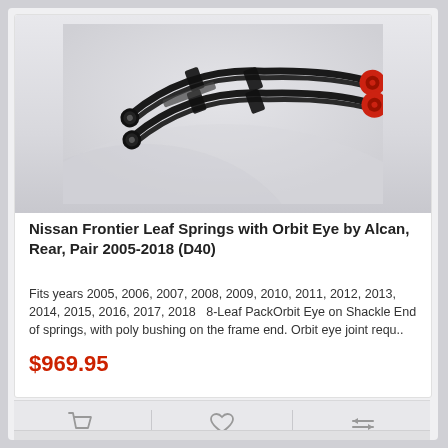[Figure (photo): Two curved leaf springs with red orbit eye bushings on the shackle ends, shown against a light grey background. The springs are black and arranged in a pair, curved arc shape with red polyurethane bushings visible at the right ends.]
Nissan Frontier Leaf Springs with Orbit Eye by Alcan, Rear, Pair 2005-2018 (D40)
Fits years 2005, 2006, 2007, 2008, 2009, 2010, 2011, 2012, 2013, 2014, 2015, 2016, 2017, 2018   8-Leaf PackOrbit Eye on Shackle End of springs, with poly bushing on the frame end. Orbit eye joint requ..
$969.95